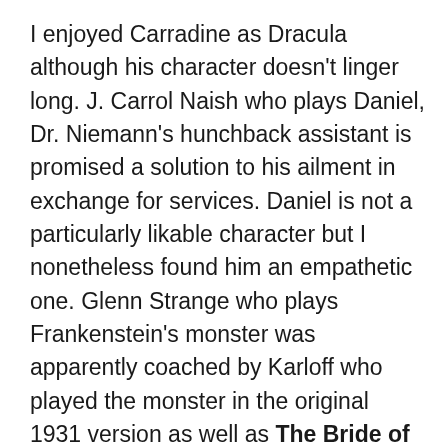I enjoyed Carradine as Dracula although his character doesn't linger long. J. Carrol Naish who plays Daniel, Dr. Niemann's hunchback assistant is promised a solution to his ailment in exchange for services. Daniel is not a particularly likable character but I nonetheless found him an empathetic one. Glenn Strange who plays Frankenstein's monster was apparently coached by Karloff who played the monster in the original 1931 version as well as The Bride of Frankenstein (1935). Strange plays the large lumbering creature convincingly well and I think he looked superb in the makeup. Strange apparently also did all his own stunts! Last but certainly not least is Mr. Lon Chaney Jr. who plays Lawrence Talbot also known as the Wolf Man. Lawrence Talbot is a tortured character. Talbot is well aware of his crimes and is unable to control his transformations. He knows he should not exist but like